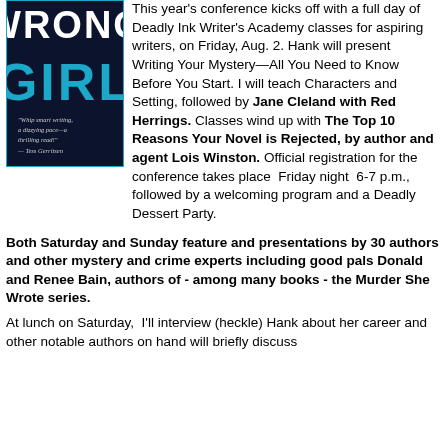[Figure (illustration): Book cover showing 'WRONG GIRL' in large text with a dark blue/black background, with a quote 'Whip smart writing, a dizzying pace—a thrilling read!' — Tess Gerritsen]
This year's conference kicks off with a full day of Deadly Ink Writer's Academy classes for aspiring writers, on Friday, Aug. 2. Hank will present Writing Your Mystery—All You Need to Know Before You Start. I will teach Characters and Setting, followed by Jane Cleland with Red Herrings. Classes wind up with The Top 10 Reasons Your Novel is Rejected, by author and agent Lois Winston. Official registration for the conference takes place Friday night 6-7 p.m., followed by a welcoming program and a Deadly Dessert Party.
Both Saturday and Sunday feature and presentations by 30 authors and other mystery and crime experts including good pals Donald and Renee Bain, authors of - among many books - the Murder She Wrote series.
At lunch on Saturday, I'll interview (heckle) Hank about her career and other notable authors on hand will briefly discuss